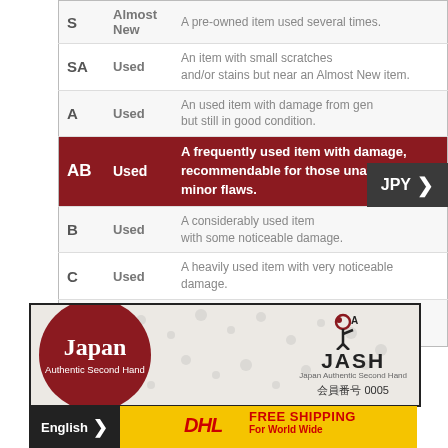| Grade | Condition | Description |
| --- | --- | --- |
| S | Almost New | A pre-owned item used several times. |
| SA | Used | An item with small scratches and/or stains but near an Almost New item. |
| A | Used | An used item with damage from general use, but still in good condition. |
| AB | Used | A frequently used item with damage, recommendable for those unaffected by minor flaws. |
| B | Used | A considerably used item with some noticeable damage. |
| C | Used | A heavily used item with very noticeable damage. |
| D | Used | An item with broken parts etc. A non-functional junk item. |
[Figure (logo): JASH (Japan Authentic Second Hand) banner with circular red logo and member number 0005]
[Figure (infographic): DHL Free Shipping For World Wide banner in yellow with red DHL logo]